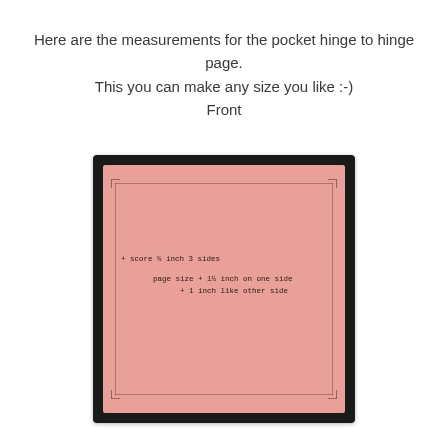Here are the measurements for the pocket hinge to hinge page.
This you can make any size you like :-)
Front
[Figure (photo): A pink paper/card photographed against a dark background, showing handwritten measurements. The paper has scored lines near the edges forming a border. Handwritten text reads: '+ score 1/2 inch 3 sides' and 'page size + 1/2 inch on one side + 1 inch like other side'.]